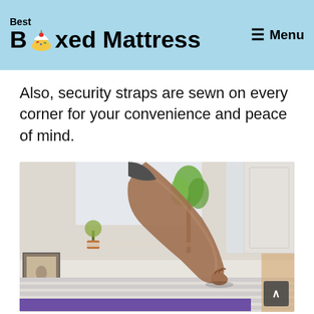Best Boxed Mattress — Menu
Also, security straps are sewn on every corner for your convenience and peace of mind.
[Figure (photo): A person's hand pulling/adjusting a mattress topper corner with a purple and white striped mattress visible. Bright bedroom background with plants and wicker basket.]